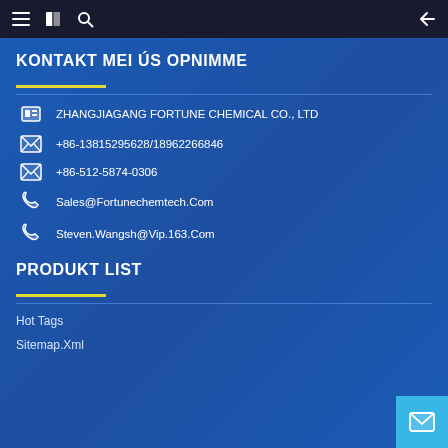Navigation bar with menu, book, search icons and back arrow
KONTAKT MEI ÚS OPNIMME
ZHANGJIAGANG FORTUNE CHEMICAL CO., LTD
+86-13815295628/18962266846
+86-512-5874-0306
Sales@Fortunechemtech.Com
Steven.Wangsh@Vip.163.Com
PRODUKT LIST
Hot Tags
Sitemap.Xml